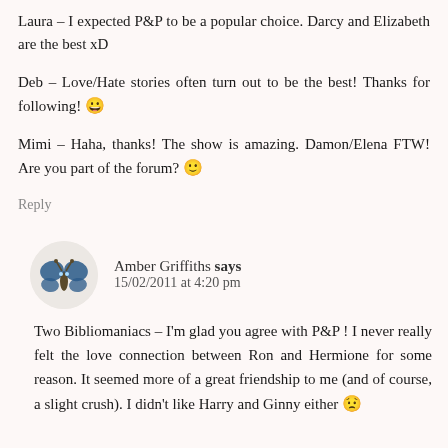Laura – I expected P&P to be a popular choice. Darcy and Elizabeth are the best xD
Deb – Love/Hate stories often turn out to be the best! Thanks for following! 😀
Mimi – Haha, thanks! The show is amazing. Damon/Elena FTW! Are you part of the forum? 🙂
Reply
Amber Griffiths says 15/02/2011 at 4:20 pm
Two Bibliomaniacs – I'm glad you agree with P&P ! I never really felt the love connection between Ron and Hermione for some reason. It seemed more of a great friendship to me (and of course, a slight crush). I didn't like Harry and Ginny either 😟